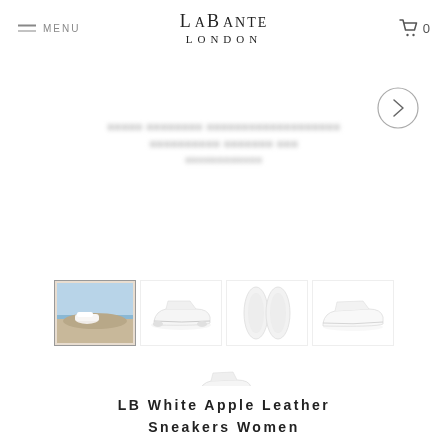LaBante London
[Figure (photo): Product image gallery showing white apple leather sneakers from LaBante London. Five thumbnail views: sneakers on sandy coastal rocks, side view on white background, top-down view, angled side view, and front-angled view. A right-arrow navigation button is visible. Blurred promotional text overlay in the main image area.]
LB White Apple Leather Sneakers Women